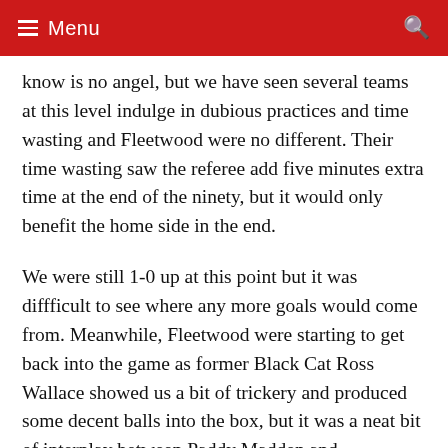Menu
know is no angel, but we have seen several teams at this level indulge in dubious practices and time wasting and Fleetwood were no different. Their time wasting saw the referee add five minutes extra time at the end of the ninety, but it would only benefit the home side in the end.
We were still 1-0 up at this point but it was difficult to see where any more goals would come from. Meanwhile, Fleetwood were starting to get back into the game as former Black Cat Ross Wallace showed us a bit of trickery and produced some decent balls into the box, but it was a neat bit of interplay between Paddy Madden and overlapping full back Lewie Coyle